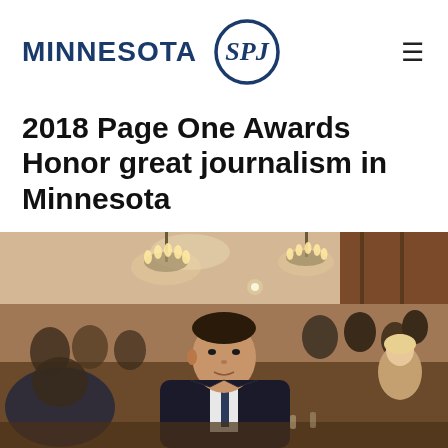MINNESOTA SPJ
2018 Page One Awards Honor great journalism in Minnesota
June 15, 2018 / Awards, News
[Figure (photo): Event photo showing attendees seated at tables in a banquet hall with chandeliers, a man in the foreground looking to the side, other guests visible in the background.]